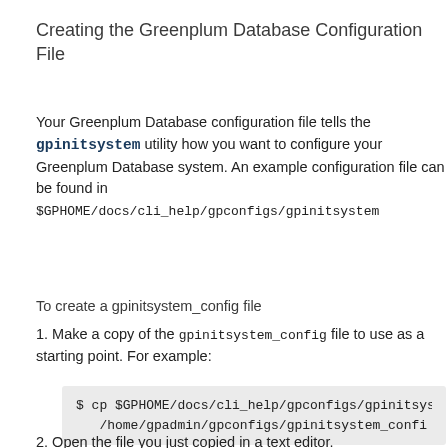Creating the Greenplum Database Configuration File
Your Greenplum Database configuration file tells the gpinitsystem utility how you want to configure your Greenplum Database system. An example configuration file can be found in $GPHOME/docs/cli_help/gpconfigs/gpinitsystem_config
To create a gpinitsystem_config file
1. Make a copy of the gpinitsystem_config file to use as a starting point. For example:
$ cp $GPHOME/docs/cli_help/gpconfigs/gpinitsyst
        /home/gpadmin/gpconfigs/gpinitsystem_confi
2. Open the file you just copied in a text editor.